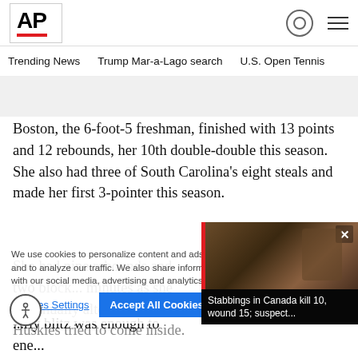[Figure (logo): AP (Associated Press) logo with red underline bar]
Trending News   Trump Mar-a-Lago search   U.S. Open Tennis
Boston, the 6-foot-5 freshman, finished with 13 points and 12 rebounds, her 10th double-double this season. She also had three of South Carolina's eight steals and made her first 3-pointer this season.
She had nine rebounds and two blo... minutes as she continually altered... Huskies tried to come inside.
...rly blitz was enough to ene... crowd of 18,000-plus and push the
We use cookies to personalize content and ads, to provide social media features and to analyze our traffic. We also share information about your use of our site with our social media, advertising and analytics partners. Privacy Policy
[Figure (screenshot): Video thumbnail showing Stabbings in Canada news story]